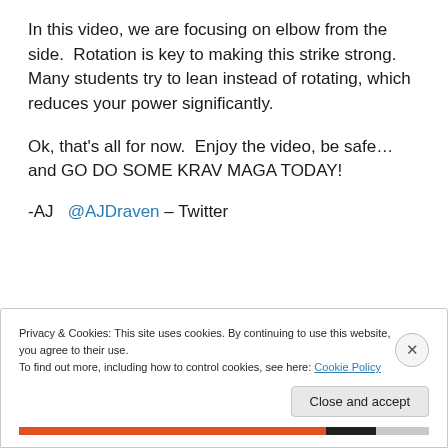In this video, we are focusing on elbow from the side. Rotation is key to making this strike strong.  Many students try to lean instead of rotating, which reduces your power significantly.
Ok, that's all for now.  Enjoy the video, be safe… and GO DO SOME KRAV MAGA TODAY!
-AJ  @AJDraven – Twitter
Privacy & Cookies: This site uses cookies. By continuing to use this website, you agree to their use.
To find out more, including how to control cookies, see here: Cookie Policy